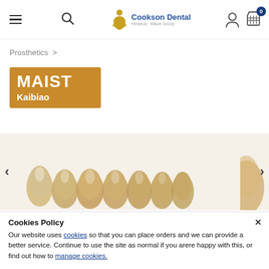Cookson Dental - Heraeus Maule Group navigation bar with hamburger menu, search, logo, account, and basket icons
Prosthetics >
[Figure (logo): MAIST Kaibiao brand logo on orange/tan background]
[Figure (photo): Dental prosthetic teeth product carousel image showing multiple tooth-shaped prosthetics in beige/cream color]
Cookies Policy
Our website uses cookies so that you can place orders and we can provide a better service. Continue to use the site as normal if you arere happy with this, or find out how to manage cookies.